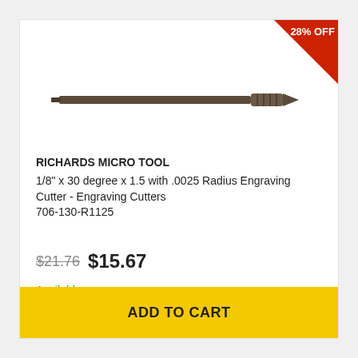[Figure (photo): Product photo of a long thin engraving cutter tool with a pointed tip, dark metallic color, horizontal orientation]
RICHARDS MICRO TOOL
1/8" x 30 degree x 1.5 with .0025 Radius Engraving Cutter - Engraving Cutters
706-130-R1125
$21.76  $15.67
Available
OLT 3 days
ADD TO CART